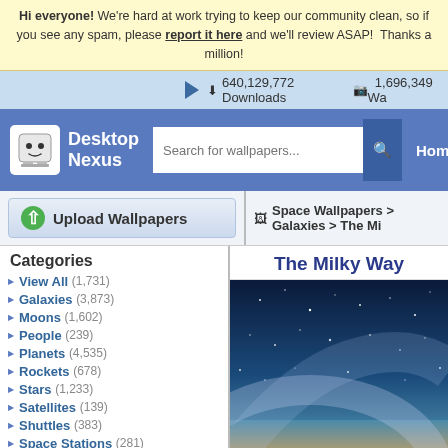Hi everyone! We're hard at work trying to keep our community clean, so if you see any spam, please report it here and we'll review ASAP! Thanks a million!
640,129,772 Downloads   1,696,349 Wa...
[Figure (screenshot): Desktop Nexus logo with white mascot character on blue background, search bar, Home navigation]
Upload Wallpapers
Space Wallpapers > Galaxies > The Mi...
Categories
View All (1,731)
Galaxies (3,873)
Moons (1,602)
People (239)
Planets (4,535)
Rockets (678)
Stars (1,233)
Satellites (139)
Shuttles (383)
Space Stations (281)
Other (2,122)
Downloads: 640,129,772
Space Walls: 10,947
All Wallpapers: 1,696,349
The Milky Way...
[Figure (photo): The Milky Way galaxy wallpaper showing a starry dark blue sky with a glowing arc of the galaxy on a warm horizon]